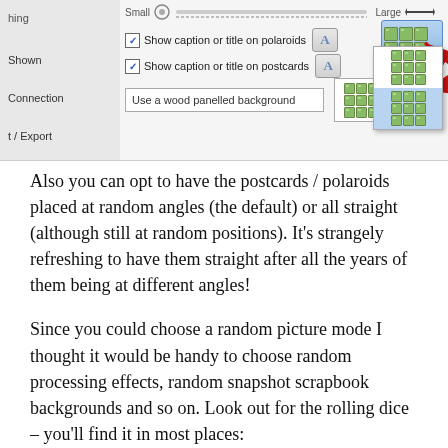[Figure (screenshot): Software settings panel screenshot showing checkboxes for 'Show caption or title on polaroids' and 'Show caption or title on postcards', a dropdown for background ('Use a wood panelled background'), a grid layout picker with a blue highlighted selection, and a sidebar with items including 'hing', 'Shown', 'Connection', 't/Export', 't'. Red arrows point to the dropdown and background selector.]
Also you can opt to have the postcards / polaroids placed at random angles (the default) or all straight (although still at random positions). It’s strangely refreshing to have them straight after all the years of them being at different angles!
Since you could choose a random picture mode I thought it would be handy to choose random processing effects, random snapshot scrapbook backgrounds and so on. Look out for the rolling dice – you’ll find it in most places: